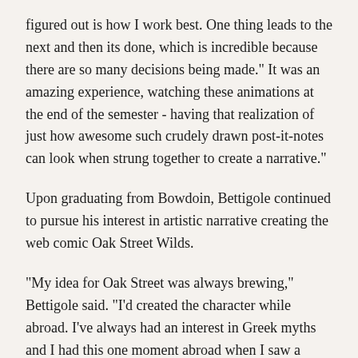figured out is how I work best. One thing leads to the next and then its done, which is incredible because there are so many decisions being made." It was an amazing experience, watching these animations at the end of the semester - having that realization of just how awesome such crudely drawn post-it-notes can look when strung together to create a narrative."
Upon graduating from Bowdoin, Bettigole continued to pursue his interest in artistic narrative creating the web comic Oak Street Wilds.
"My idea for Oak Street was always brewing," Bettigole said. "I'd created the character while abroad. I've always had an interest in Greek myths and I had this one moment abroad when I saw a raccoon pelt and was reminded of the myth of Heracles killing the Nemean Lion and wearing its skin with the paws tied around his neck. I saw that pelt and I just had this